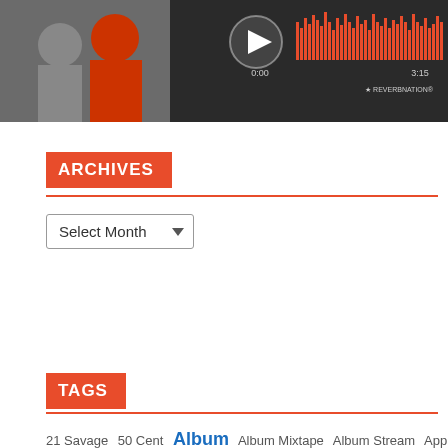[Figure (screenshot): Music player widget showing two people in red clothing on the left, a play button, audio waveform visualization in red, timestamps 0:00 and 3:15, and ReverbNation branding]
ARCHIVES
[Figure (other): Select Month dropdown widget]
TAGS
21 Savage   50 Cent   Album   Album Mixtape   Album Stream   Apple Music